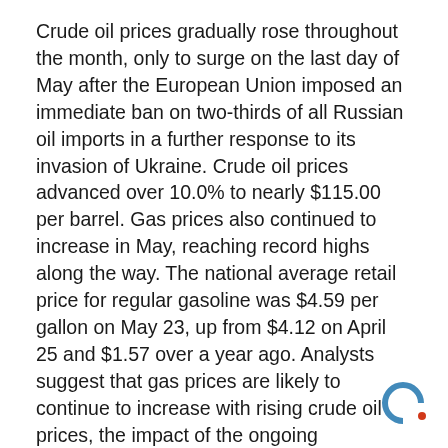Crude oil prices gradually rose throughout the month, only to surge on the last day of May after the European Union imposed an immediate ban on two-thirds of all Russian oil imports in a further response to its invasion of Ukraine. Crude oil prices advanced over 10.0% to nearly $115.00 per barrel. Gas prices also continued to increase in May, reaching record highs along the way. The national average retail price for regular gasoline was $4.59 per gallon on May 23, up from $4.12 on April 25 and $1.57 over a year ago. Analysts suggest that gas prices are likely to continue to increase with rising crude oil prices, the impact of the ongoing Russia/Ukraine war, and demand exceeding refinery output.
First-quarter gross domestic product contracted at an annualized rate of 1.5% (see below) after increasing nearly 7.0% to end 2021. Nevertheless, there were some positive signs in May. Consumer spending continued to increase and some high-end retail earnings reports gave investor
[Figure (logo): Partial circular logo/watermark in bottom-right corner, blue C-shaped arc symbol]